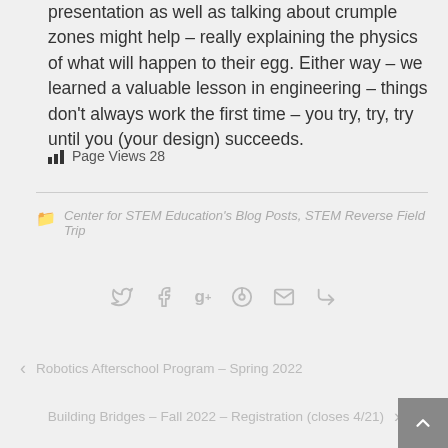presentation as well as talking about crumple zones might help – really explaining the physics of what will happen to their egg. Either way – we learned a valuable lesson in engineering – things don't always work the first time – you try, try, try until you (your design) succeeds.
Page Views 28
Center for STEM Education's Blog Posts, STEM Reverse Field Trip
social share icons: twitter, facebook, google+, pinterest, email, share
< Robotics Afterschool Program – Spring 2022
Building Bridges – Fall 2022 – Registration (closes 4/21) >